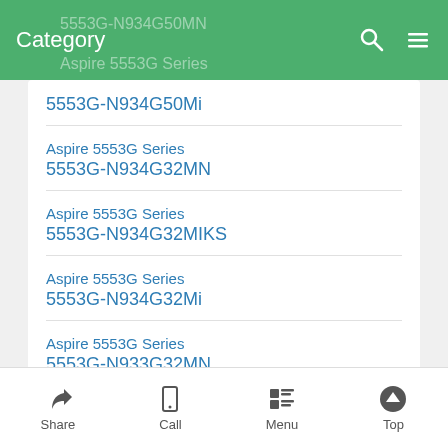Category
5553G-N934G50Mi
Aspire 5553G Series
5553G-N934G32MN
Aspire 5553G Series
5553G-N934G32MIKS
Aspire 5553G Series
5553G-N934G32Mi
Aspire 5553G Series
5553G-N933G32MN
Aspire 5553G Series
5553G-N933G32Mi
Aspire 5553G Series
Share  Call  Menu  Top